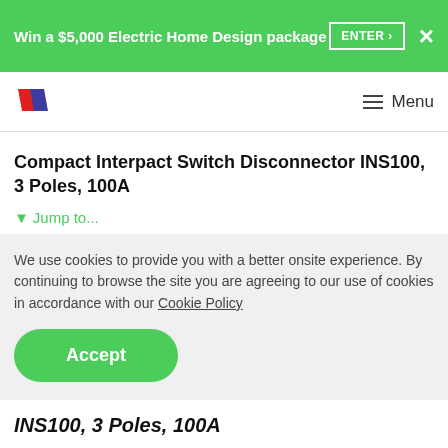Win a $5,000 Electric Home Design package  ENTER ›  ✕
[Figure (logo): Schneider Electric logo — two diagonal parallelogram shapes in red and blue/purple]
Compact Interpact Switch Disconnector INS100, 3 Poles, 100A
▼ Jump to...
We use cookies to provide you with a better onsite experience. By continuing to browse the site you are agreeing to our use of cookies in accordance with our Cookie Policy
Accept
INS100, 3 Poles, 100A
Item Number: 28908